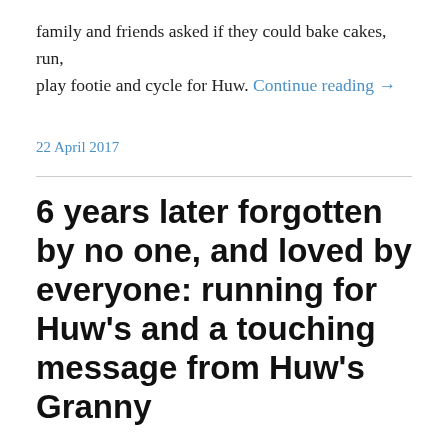family and friends asked if they could bake cakes, run, play footie and cycle for Huw. Continue reading →
22 April 2017
6 years later forgotten by no one, and loved by everyone: running for Huw's and a touching message from Huw's Granny
Six years later Huw, you are forgotten by no one, and loved by everyone: including at this time by 2 of your friends and by your Granny who passed away recently.